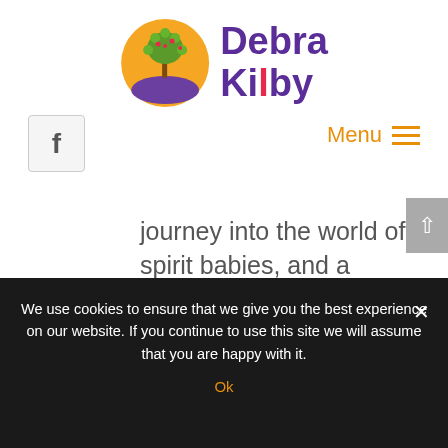[Figure (logo): Debra Kilby logo with orange circle tree illustration and purple text]
[Figure (other): Facebook icon button (f)]
Menu ≡
journey into the world of spirit babies, and a sneaky preview of the channelled message of my spirit baby guide Rosa's introduction to the book, please sign up
We use cookies to ensure that we give you the best experience on our website. If you continue to use this site we will assume that you are happy with it.
Ok